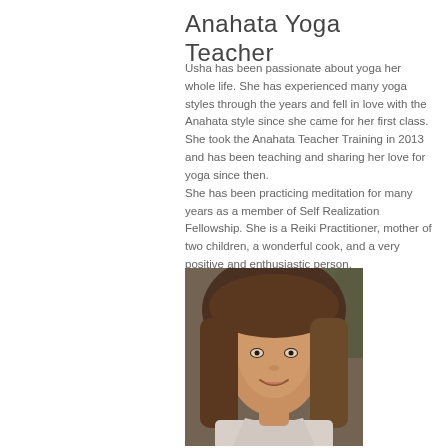Anahata Yoga Teacher
Usha has been passionate about yoga her whole life. She has experienced many yoga styles through the years and fell in love with the Anahata style since she came for her first class. She took the Anahata Teacher Training in 2013 and has been teaching and sharing her love for yoga since then.
She has been practicing meditation for many years as a member of Self Realization Fellowship. She is a Reiki Practitioner, mother of two children, a wonderful cook, and a very positive and enthusiastic person.
[Figure (photo): Portrait photo of a woman with brown hair, smiling, wearing a light-colored top]